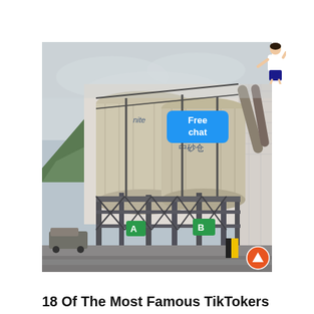[Figure (photo): Industrial facility photo showing large cylindrical silos or storage tanks with steel scaffolding and support structures. Chinese characters visible on the silos. Green signage with letters A and B. Mountains and overcast sky in background. A vehicle visible at lower left. Wet ground surface. Overlaid with a 'Free chat' badge in the top-right corner and an orange upward arrow button at the bottom-right.]
18 Of The Most Famous TikTokers